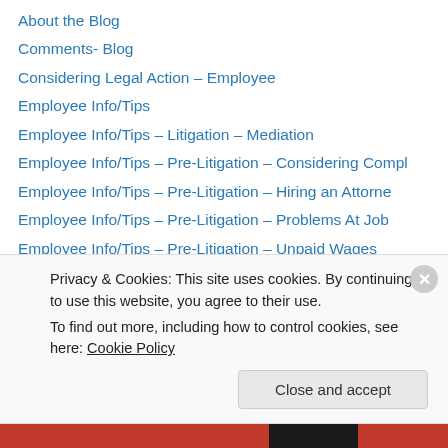About the Blog
Comments- Blog
Considering Legal Action – Employee
Employee Info/Tips
Employee Info/Tips – Litigation – Mediation
Employee Info/Tips – Pre-Litigation – Considering Compl
Employee Info/Tips – Pre-Litigation – Hiring an Attorne
Employee Info/Tips – Pre-Litigation – Problems At Job
Employee Info/Tips – Pre-Litigation – Unpaid Wages
Employee Rights & Employment Law
Employee Tip – Considering a Legal Action
Employee Tip – H-1B
Employee Tip – Hiring an Attorney
Privacy & Cookies: This site uses cookies. By continuing to use this website, you agree to their use. To find out more, including how to control cookies, see here: Cookie Policy
Close and accept